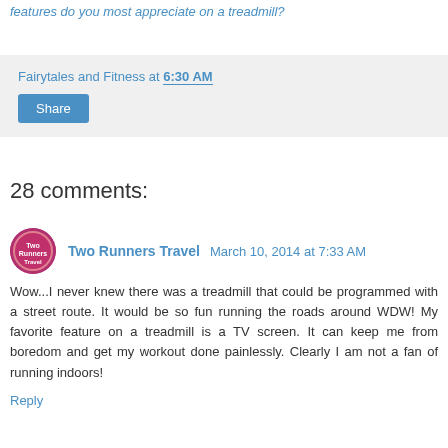features do you most appreciate on a treadmill?
Fairytales and Fitness at 6:30 AM
Share
28 comments:
Two Runners Travel  March 10, 2014 at 7:33 AM
Wow...I never knew there was a treadmill that could be programmed with a street route. It would be so fun running the roads around WDW! My favorite feature on a treadmill is a TV screen. It can keep me from boredom and get my workout done painlessly. Clearly I am not a fan of running indoors!
Reply